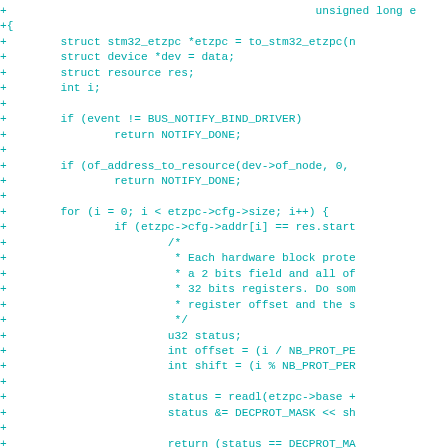[Figure (screenshot): Code diff snippet showing C source code additions for stm32_etzpc driver, including struct declarations, event handling, resource address lookup, for loop with hardware block protection register access, and status/offset/shift calculations.]